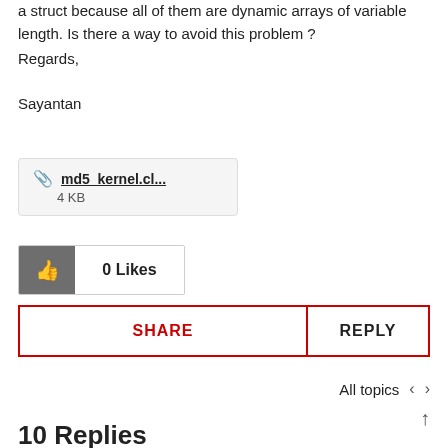a struct because all of them are dynamic arrays of variable length. Is there a way to avoid this problem ?
Regards,
Sayantan
[Figure (other): Attachment link box showing 'md5_kernel.cl...' file, 4 KB]
[Figure (other): 0 Likes button with thumbs up icon]
[Figure (other): SHARE and REPLY button row with red border]
All topics
10 Replies